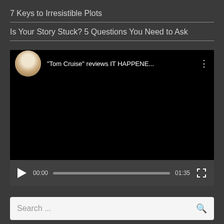7 Keys to Irresistible Plots
Is Your Story Stuck? 5 Questions You Need to Ask
[Figure (screenshot): Embedded video player showing a YouTube-style video titled '"Tom Cruise" reviews IT HAPPENE...' with a circular avatar of a bearded man, video controls showing 00:00 current time and 01:35 total duration, play button, progress bar, and fullscreen button. The video screen is black.]
Search ...